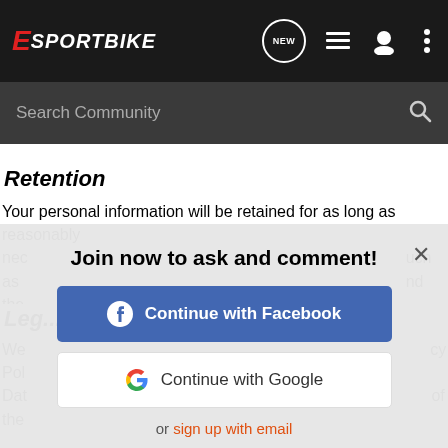E SPORTBIKE — navigation header with search bar
Retention
Your personal information will be retained for as long as reasonably nec... uch as a... nd the...
Leg...
We... cy Pol... Dat... of the...
[Figure (screenshot): Modal dialog: 'Join now to ask and comment!' with Continue with Facebook button, Continue with Google button, and 'or sign up with email' link. Close (x) button in top right.]
provide you with the services you request and to process payments); necessary to comply with legal requirements (for example, to comply with applicable accounting rules and to make